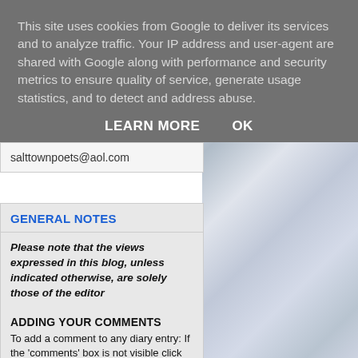This site uses cookies from Google to deliver its services and to analyze traffic. Your IP address and user-agent are shared with Google along with performance and security metrics to ensure quality of service, generate usage statistics, and to detect and address abuse.
LEARN MORE   OK
salttownpoets@aol.com
GENERAL NOTES
Please note that the views expressed in this blog, unless indicated otherwise, are solely those of the editor
ADDING YOUR COMMENTS
To add a comment to any diary entry: If the 'comments' box is not visible click on the word 'comments' in blue (if there have been previous...